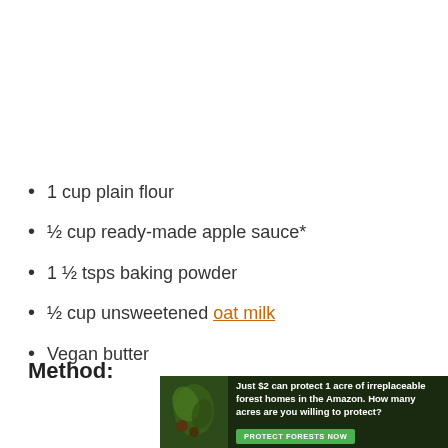1 cup plain flour
½ cup ready-made apple sauce*
1 ½ tsps baking powder
½ cup unsweetened oat milk
Vegan butter
Method:
[Figure (photo): Advertisement banner: dark forest background with leaf imagery. Text reads: Just $2 can protect 1 acre of irreplaceable forest homes in the Amazon. How many acres are you willing to protect? Button: PROTECT FORESTS NOW]